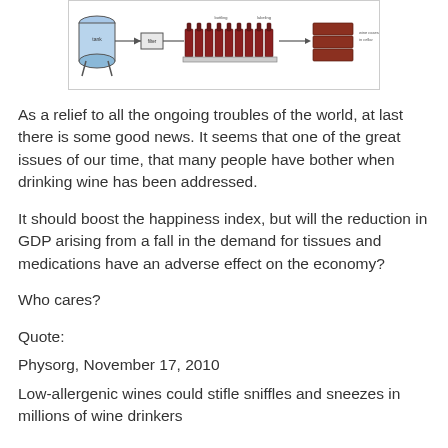[Figure (schematic): A wine bottling process schematic diagram showing a tank, filtration/processing steps with bottles on a conveyor, and stacked wine cases on the right.]
As a relief to all the ongoing troubles of the world, at last there is some good news. It seems that one of the great issues of our time, that many people have bother when drinking wine has been addressed.
It should boost the happiness index, but will the reduction in GDP arising from a fall in the demand for tissues and medications have an adverse effect on the economy?
Who cares?
Quote:
Physorg, November 17, 2010
Low-allergenic wines could stifle sniffles and sneezes in millions of wine drinkers